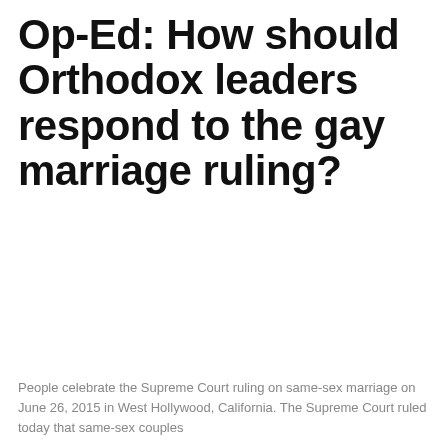Op-Ed: How should Orthodox leaders respond to the gay marriage ruling?
People celebrate the Supreme Court ruling on same-sex marriage on June 26, 2015 in West Hollywood, California. The Supreme Court ruled today that same-sex couples